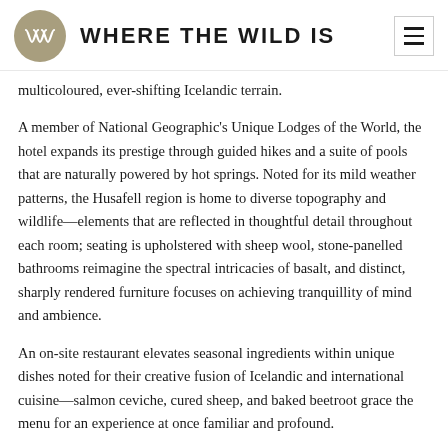WHERE THE WILD IS
multicoloured, ever-shifting Icelandic terrain.
A member of National Geographic's Unique Lodges of the World, the hotel expands its prestige through guided hikes and a suite of pools that are naturally powered by hot springs. Noted for its mild weather patterns, the Husafell region is home to diverse topography and wildlife—elements that are reflected in thoughtful detail throughout each room; seating is upholstered with sheep wool, stone-panelled bathrooms reimagine the spectral intricacies of basalt, and distinct, sharply rendered furniture focuses on achieving tranquillity of mind and ambience.
An on-site restaurant elevates seasonal ingredients within unique dishes noted for their creative fusion of Icelandic and international cuisine—salmon ceviche, cured sheep, and baked beetroot grace the menu for an experience at once familiar and profound.